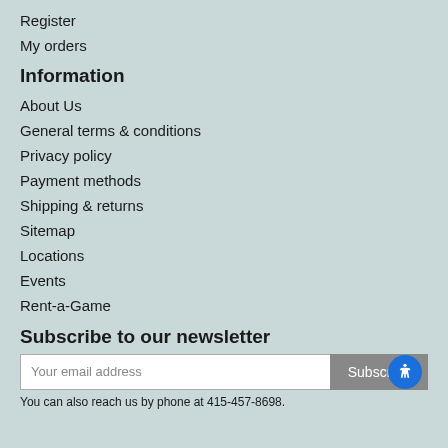Register
My orders
Information
About Us
General terms & conditions
Privacy policy
Payment methods
Shipping & returns
Sitemap
Locations
Events
Rent-a-Game
Subscribe to our newsletter
You can also reach us by phone at 415-457-8698.